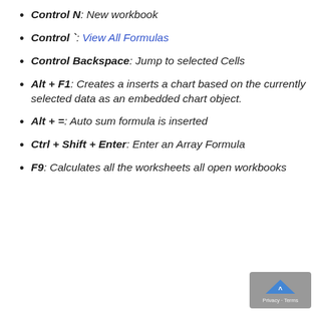Control N: New workbook
Control `: View All Formulas
Control Backspace: Jump to selected Cells
Alt + F1: Creates a inserts a chart based on the currently selected data as an embedded chart object.
Alt + =: Auto sum formula is inserted
Ctrl + Shift + Enter: Enter an Array Formula
F9: Calculates all the worksheets all open workbooks